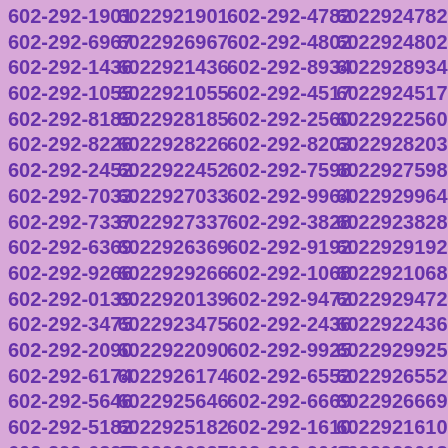602-292-1901 6022921901 602-292-4782 6022924782 602-292-6967 6022926967 602-292-4802 6022924802 602-292-1436 6022921436 602-292-8934 6022928934 602-292-1055 6022921055 602-292-4517 6022924517 602-292-8185 6022928185 602-292-2560 6022922560 602-292-8226 6022928226 602-292-8203 6022928203 602-292-2452 6022922452 602-292-7598 6022927598 602-292-7033 6022927033 602-292-9964 6022929964 602-292-7337 6022927337 602-292-3828 6022923828 602-292-6369 6022926369 602-292-9192 6022929192 602-292-9266 6022929266 602-292-1068 6022921068 602-292-0139 6022920139 602-292-9472 6022929472 602-292-3475 6022923475 602-292-2436 6022922436 602-292-2090 6022922090 602-292-9925 6022929925 602-292-6174 6022926174 602-292-6552 6022926552 602-292-5646 6022925646 602-292-6669 6022926669 602-292-5182 6022925182 602-292-1610 6022921610 602-292-6327 6022926327 602-292-9018 6022929018 602-292-8813 6022928813 602-292-5864 6022925864 602-292-3939 6022923939 602-292-3513 6022923513 602-292-7957 6022927957 602-292-9226 6022929226